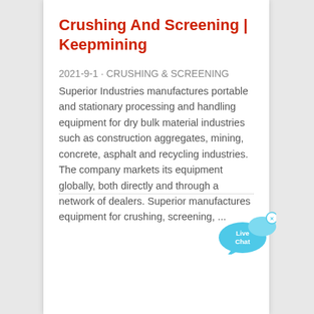Crushing And Screening | Keepmining
2021-9-1 · CRUSHING & SCREENING Superior Industries manufactures portable and stationary processing and handling equipment for dry bulk material industries such as construction aggregates, mining, concrete, asphalt and recycling industries. The company markets its equipment globally, both directly and through a network of dealers. Superior manufactures equipment for crushing, screening, ...
[Figure (illustration): Live Chat speech bubble widget in blue with white text reading 'Live Chat' and a small 'x' close button]